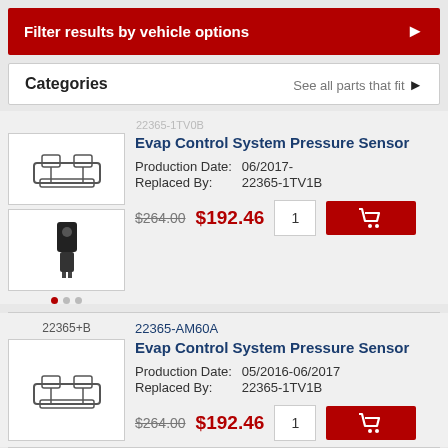Filter results by vehicle options
Categories    See all parts that fit
22365-1TV0B (faded)
Evap Control System Pressure Sensor
Production Date: 06/2017-
Replaced By: 22365-1TV1B
$264.00  $192.46  1  [cart]
22365+B
22365-AM60A
Evap Control System Pressure Sensor
Production Date: 05/2016-06/2017
Replaced By: 22365-1TV1B
$264.00  $192.46  1  [cart]